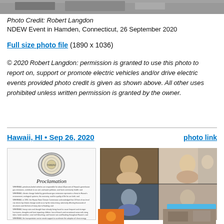[Figure (photo): Top strip photo of NDEW event, partially visible]
Photo Credit: Robert Langdon
NDEW Event in Hamden, Connecticut, 26 September 2020
Full size photo file (1890 x 1036)
© 2020 Robert Langdon: permission is granted to use this photo to report on, support or promote electric vehicles and/or drive electric events provided photo credit is given as shown above. All other uses prohibited unless written permission is granted by the owner.
Hawaii, HI • Sep 26, 2020
photo link
[Figure (photo): Proclamation document from State of Hawaii with seal and text]
[Figure (screenshot): Video call screenshot with multiple participants in grid layout]